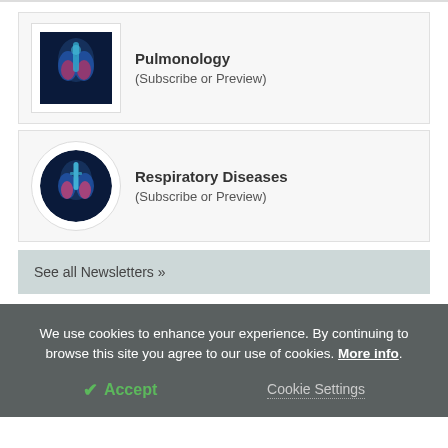Pulmonology (Subscribe or Preview)
Respiratory Diseases (Subscribe or Preview)
See all Newsletters »
We use cookies to enhance your experience. By continuing to browse this site you agree to our use of cookies. More info.
✓ Accept
Cookie Settings